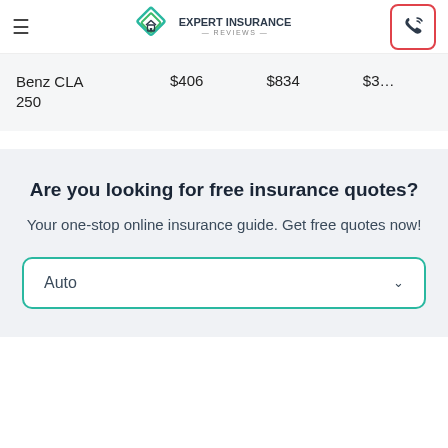Expert Insurance Reviews — navigation bar with logo and phone button
| Car | Price1 | Price2 | Price3 |
| --- | --- | --- | --- |
| Benz CLA 250 | $406 | $834 | $3… |
Are you looking for free insurance quotes?
Your one-stop online insurance guide. Get free quotes now!
Auto